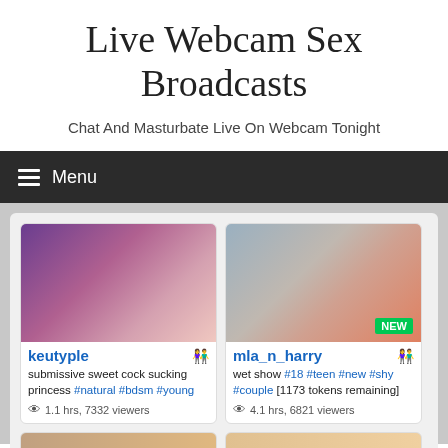Live Webcam Sex Broadcasts
Chat And Masturbate Live On Webcam Tonight
Menu
[Figure (screenshot): Webcam thumbnail showing a person on a bed with stuffed animals, username keutyple]
keutyple
submissive sweet cock sucking princess #natural #bdsm #young
1.1 hrs, 7332 viewers
[Figure (screenshot): Webcam thumbnail showing two people, one with pink hair, badge NEW, username mla_n_harry]
mla_n_harry
wet show #18 #teen #new #shy #couple [1173 tokens remaining]
4.1 hrs, 6821 viewers